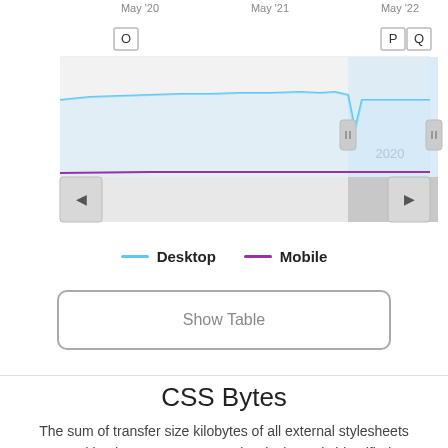[Figure (line-chart): Line chart showing Desktop and Mobile CSS bytes from around May 2020 to May 2022. Desktop line in light blue, relatively flat with a dip near end. Mobile line in purple, very low. Shaded region near right with annotation '2020'. Scrollbar/navigation controls visible.]
Desktop   Mobile
Show Table
CSS Bytes
The sum of transfer size kilobytes of all external stylesheets requested by the page. An external stylesheets is identified as a resource with the css file extension or a MIME type containing css.